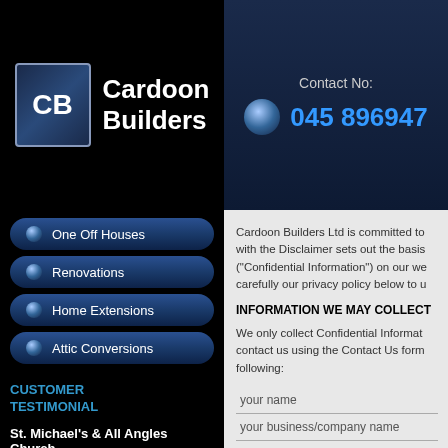[Figure (logo): Cardoon Builders logo with CB initials in blue diamond shape and white bold text 'Cardoon Builders']
Contact No: 045 896947
One Off Houses
Renovations
Home Extensions
Attic Conversions
Cardoon Builders Ltd is committed to with the Disclaimer sets out the basis ("Confidential Information") on our we carefully our privacy policy below to u
INFORMATION WE MAY COLLECT
We only collect Confidential Informat contact us using the Contact Us form following:
your name
your business/company name
your telephone number
CUSTOMER TESTIMONIAL
St. Michael's & All Angles Church
"Cardoon are a company which complete their projects to high